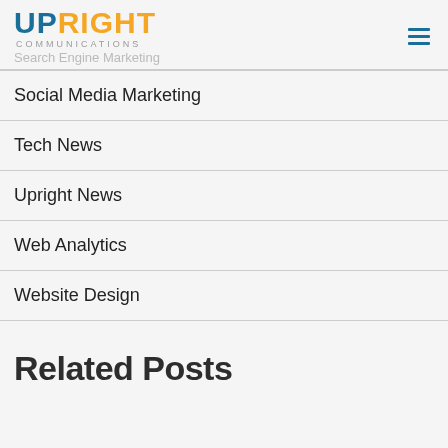UPRIGHT COMMUNICATIONS — Search Engine Marketing
Social Media Marketing
Tech News
Upright News
Web Analytics
Website Design
Related Posts